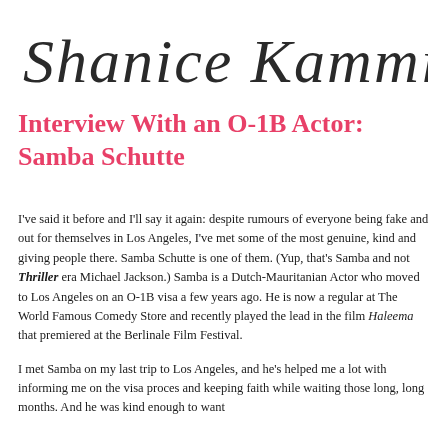[Figure (illustration): Handwritten cursive signature/logo reading 'Shanice Kamminga' in black ink on white background]
Interview With an O-1B Actor: Samba Schutte
I've said it before and I'll say it again: despite rumours of everyone being fake and out for themselves in Los Angeles, I've met some of the most genuine, kind and giving people there. Samba Schutte is one of them. (Yup, that's Samba and not Thriller era Michael Jackson.) Samba is a Dutch-Mauritanian Actor who moved to Los Angeles on an O-1B visa a few years ago. He is now a regular at The World Famous Comedy Store and recently played the lead in the film Haleema that premiered at the Berlinale Film Festival.
I met Samba on my last trip to Los Angeles, and he's helped me a lot with informing me on the visa proces and keeping faith while waiting those long, long months. And he was kind enough to want